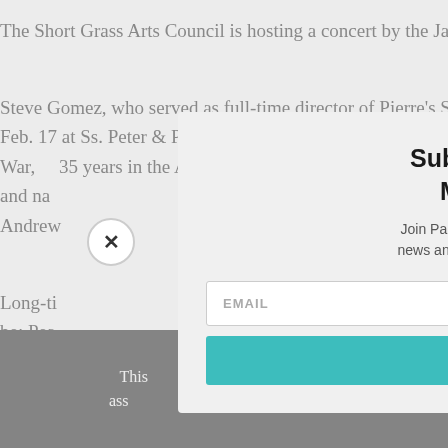The Short Grass Arts Council is hosting a concert by the Japanese taik...
Steve Gomez, who served as full-time director of Pierre's South Dako... Feb. 17 at Ss. Peter & Paul Catholic Church. He grew up in Deadwood... War, ... 35 years in the Army National Guard, advancing to the rank... and na... wife, Je... Andrew... . Anoth...
Long-ti... ...ing to P... be: Pea... ...701.
A bene... ...e held that tin...
This... We'll ass... ...ish.
[Figure (other): Modal popup overlay: Subscribe to Parker's Midweek Update. Contains email input field and SUBSCRIBE! button. X close button top-left.]
Subscribe to Parker's Midweek Update
Join Parker's mailing list to receive the latest news and updates from the Midweek Update.